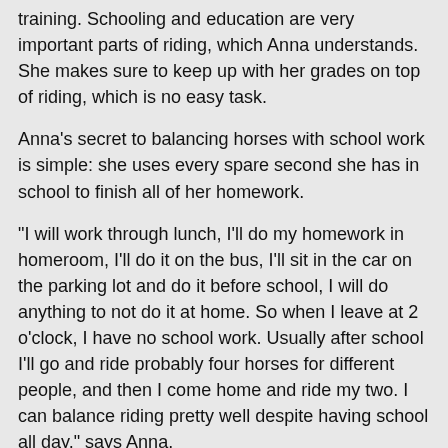training. Schooling and education are very important parts of riding, which Anna understands. She makes sure to keep up with her grades on top of riding, which is no easy task.
Anna's secret to balancing horses with school work is simple: she uses every spare second she has in school to finish all of her homework.
"I will work through lunch, I'll do my homework in homeroom, I'll do it on the bus, I'll sit in the car on the parking lot and do it before school, I will do anything to not do it at home. So when I leave at 2 o'clock, I have no school work. Usually after school I'll go and ride probably four horses for different people, and then I come home and ride my two. I can balance riding pretty well despite having school all day," says Anna.
As for her future plans with school, Anna's current goal is to go to Wilson College for its equine programs.
"Wilson College has an equine business major, as well as equine journalism classes, which combine two of the things I love," she says. "I've always loved to write, I've always loved to ride, and I really want to get a business degree, and in addition to that, they're in